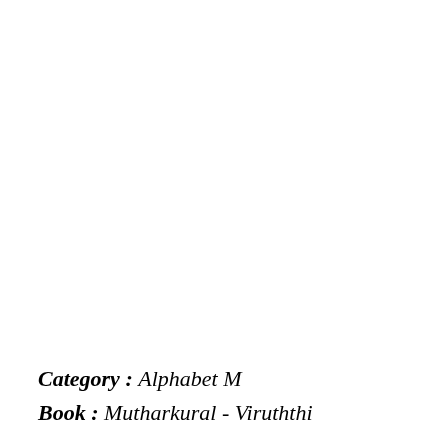Category : Alphabet M
Book : Mutharkural - Viruththi